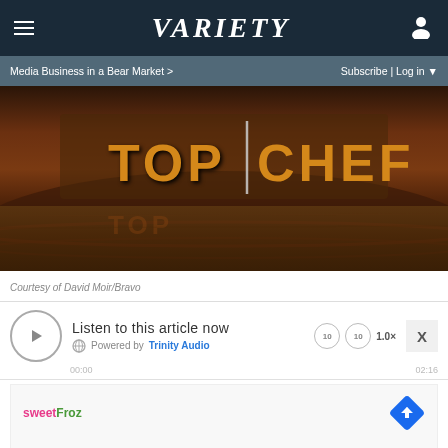Variety
Media Business in a Bear Market > Subscribe | Log in
[Figure (photo): Top Chef TV show logo on wooden set backdrop, dark brown tones]
Courtesy of David Moir/Bravo
Listen to this article now Powered by Trinity Audio 00:00 02:16
[Figure (screenshot): Advertisement banner with sweetFroz logo and navigation arrow icon]